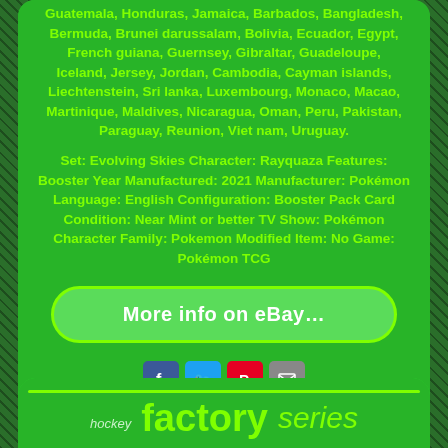Guatemala, Honduras, Jamaica, Barbados, Bangladesh, Bermuda, Brunei darussalam, Bolivia, Ecuador, Egypt, French guiana, Guernsey, Gibraltar, Guadeloupe, Iceland, Jersey, Jordan, Cambodia, Cayman islands, Liechtenstein, Sri lanka, Luxembourg, Monaco, Macao, Martinique, Maldives, Nicaragua, Oman, Peru, Pakistan, Paraguay, Reunion, Viet nam, Uruguay.
Set: Evolving Skies Character: Rayquaza Features: Booster Year Manufactured: 2021 Manufacturer: Pokémon Language: English Configuration: Booster Pack Card Condition: Near Mint or better TV Show: Pokémon Character Family: Pokemon Modified Item: No Game: Pokémon TCG
[Figure (other): eBay listing button with rounded rectangle border saying 'More info on eBay...']
[Figure (other): Social sharing icons: Facebook (blue), Twitter (light blue), Pinterest (red), Email (gray)]
hockey factory series